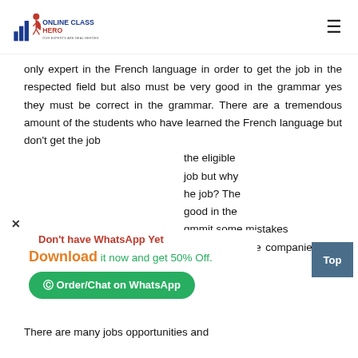Online Class Hero — Our Experts Are Real Heroes
only expert in the French language in order to get the job in the respected field but also must be very good in the grammar yes they must be correct in the grammar. There are a tremendous amount of the students who have learned the French language but don't get the job the eligible job but why he job? The good in the g...mmit some mistakes regarding grammar in the test conducted by the companies who offer jobs.
There are many jobs opportunities and